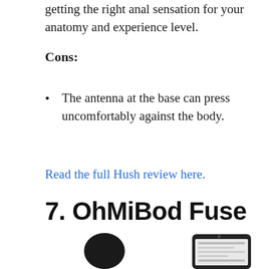getting the right anal sensation for your anatomy and experience level.
Cons:
The antenna at the base can press uncomfortably against the body.
Read the full Hush review here.
7. OhMiBod Fuse
[Figure (photo): Photo of OhMiBod Fuse product — a black elongated anal plug and a smartphone showing the companion app]